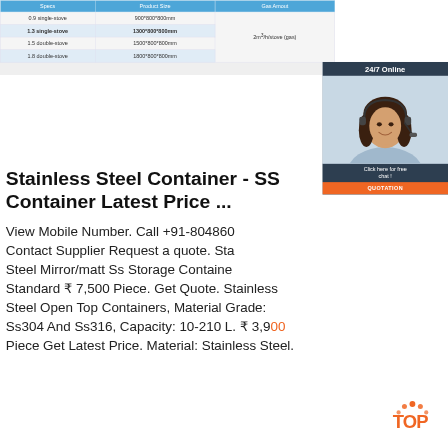| Specs | Product Size | Gas Amout |
| --- | --- | --- |
| 0.9 single-stove | 900*800*800mm |  |
| 1.3 single-stove | 1300*800*800mm | 2m³/h/stove (gas) |
| 1.5 double-stove | 1500*800*800mm |  |
| 1.8 double-stove | 1800*800*800mm |  |
[Figure (photo): 24/7 Online customer support agent photo with headset, dark background panel with 'Click here for free chat!' text and orange QUOTATION button]
Stainless Steel Container - SS Container Latest Price ...
View Mobile Number. Call +91-804860... Contact Supplier Request a quote. Stainless Steel Mirror/matt Ss Storage Container, Standard ₹ 7,500 Piece. Get Quote. Stainless Steel Open Top Containers, Material Grade: Ss304 And Ss316, Capacity: 10-210 L. ₹ 3,900 Piece Get Latest Price. Material: Stainless Steel.